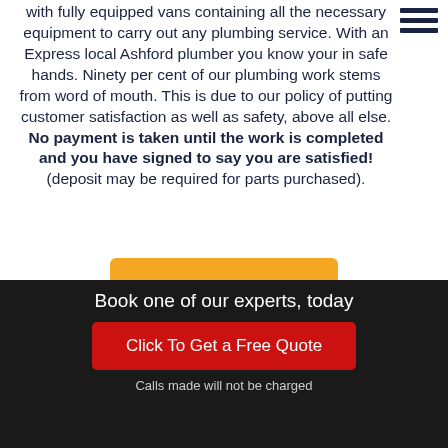with fully equipped vans containing all the necessary equipment to carry out any plumbing service. With an Express local Ashford plumber you know your in safe hands. Ninety per cent of our plumbing work stems from word of mouth. This is due to our policy of putting customer satisfaction as well as safety, above all else. No payment is taken until the work is completed and you have signed to say you are satisfied! (deposit may be required for parts purchased).
[Figure (other): Hamburger menu icon (three horizontal lines) in dark navy color, top right corner]
Contact us
Book one of our experts, today
Click To Get a Free Quote
Calls made will not be charged